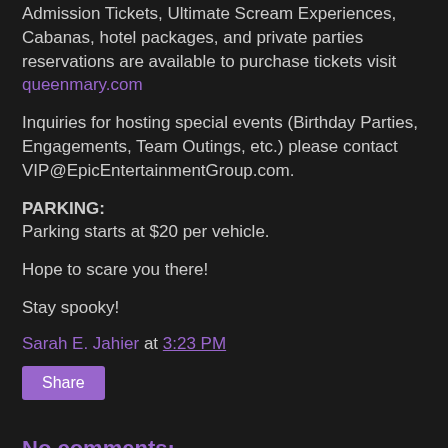Admission Tickets, Ultimate Scream Experiences, Cabanas, hotel packages, and private parties reservations are available to purchase tickets visit queenmary.com
Inquiries for hosting special events (Birthday Parties, Engagements, Team Outings, etc.) please contact VIP@EpicEntertainmentGroup.com.
PARKING:
Parking starts at $20 per vehicle.
Hope to scare you there!
Stay spooky!
Sarah E. Jahier at 3:23 PM
Share
No comments:
Post a Comment